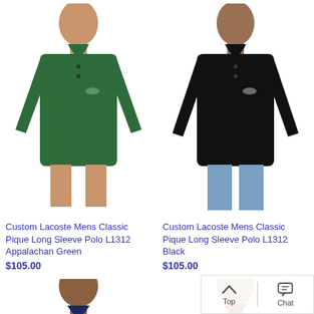[Figure (photo): Man wearing green Lacoste long sleeve polo shirt (Appalachan Green), upper body shot]
[Figure (photo): Man wearing black Lacoste long sleeve polo shirt, upper body shot]
Custom Lacoste Mens Classic Pique Long Sleeve Polo L1312 Appalachan Green
$105.00
Custom Lacoste Mens Classic Pique Long Sleeve Polo L1312 Black
$105.00
[Figure (photo): Man wearing navy/blue Lacoste long sleeve polo shirt, partial view]
[Figure (photo): Man wearing red Lacoste long sleeve polo shirt, partial view]